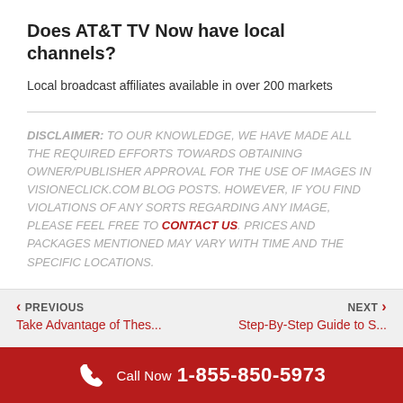Does AT&T TV Now have local channels?
Local broadcast affiliates available in over 200 markets
DISCLAIMER: TO OUR KNOWLEDGE, WE HAVE MADE ALL THE REQUIRED EFFORTS TOWARDS OBTAINING OWNER/PUBLISHER APPROVAL FOR THE USE OF IMAGES IN VISIONECLICK.COM BLOG POSTS. HOWEVER, IF YOU FIND VIOLATIONS OF ANY SORTS REGARDING ANY IMAGE, PLEASE FEEL FREE TO CONTACT US. PRICES AND PACKAGES MENTIONED MAY VARY WITH TIME AND THE SPECIFIC LOCATIONS.
PREVIOUS | Take Advantage of Thes... | NEXT | Step-By-Step Guide to S...
Call Now 1-855-850-5973